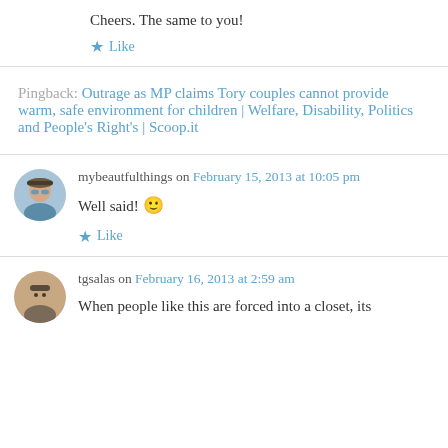Cheers. The same to you!
Like
Pingback: Outrage as MP claims Tory couples cannot provide warm, safe environment for children | Welfare, Disability, Politics and People's Right's | Scoop.it
mybeautfulthings on February 15, 2013 at 10:05 pm
Well said! 🙂
Like
tgsalas on February 16, 2013 at 2:59 am
When people like this are forced into a closet, its